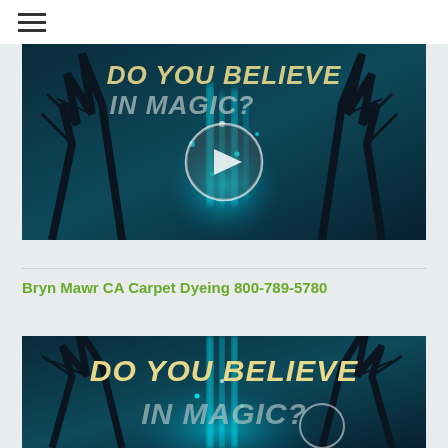☰ (hamburger menu icon)
[Figure (screenshot): Video thumbnail with dark teal background, bare trees, glowing cyan light beams, text 'DO YOU BELIEVE IN MAGIC?' and a circular play button overlay]
Bryn Mawr CA Carpet Dyeing 800-789-5780
[Figure (screenshot): Second video thumbnail identical to first with dark teal background, bare trees, glowing cyan light beams, and text 'DO YOU BELIEVE IN MAGIC?' partially visible]